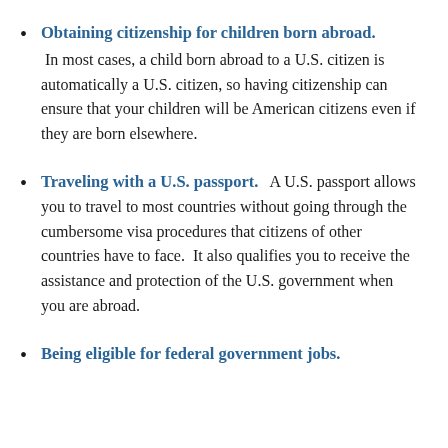Obtaining citizenship for children born abroad. In most cases, a child born abroad to a U.S. citizen is automatically a U.S. citizen, so having citizenship can ensure that your children will be American citizens even if they are born elsewhere.
Traveling with a U.S. passport. A U.S. passport allows you to travel to most countries without going through the cumbersome visa procedures that citizens of other countries have to face. It also qualifies you to receive the assistance and protection of the U.S. government when you are abroad.
Being eligible for federal government jobs.